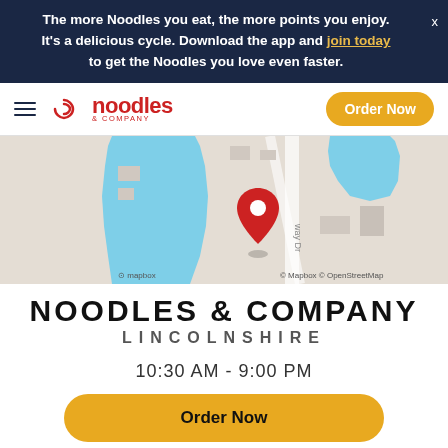The more Noodles you eat, the more points you enjoy. It's a delicious cycle. Download the app and join today to get the Noodles you love even faster.
[Figure (logo): Noodles & Company logo with hamburger menu icon and Order Now button]
[Figure (map): Mapbox/OpenStreetMap showing location of Noodles & Company Lincolnshire with a red map pin marker near a blue lake]
NOODLES & COMPANY
LINCOLNSHIRE
10:30 AM - 9:00 PM
Order Now